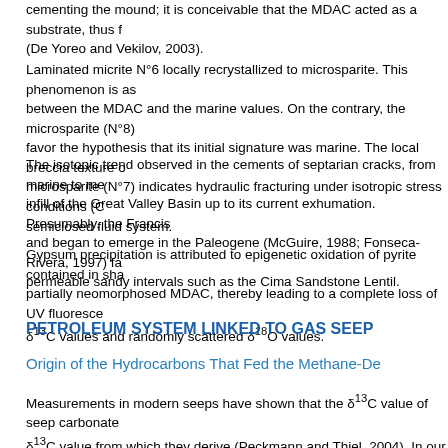cementing the mound; it is conceivable that the MDAC acted as a substrate, thus f (De Yoreo and Vekilov, 2003).
Laminated micrite N°6 locally recrystallized to microsparite. This phenomenon is as between the MDAC and the marine values. On the contrary, the microsparite (N°8) favor the hypothesis that its initial signature was marine. The local breccia texture o microsparite (N°7) indicates hydraulic fracturing under isotropic stress conditions (C semiclosed fluid system.
The isotopic trend observed in the cements of septarian cracks, from marine to me infill of the Great Valley Basin up to its current exhumation. Presumably, the Francis and began to emerge in the Paleogene (McGuire, 1988; Fonseca-Rivera, 1997) fa permeable sandy intervals such as the Cima Sandstone Lentil.
Gypsum precipitation is attributed to epigenetic oxidation of pyrite contained in sha partially neomorphosed MDAC, thereby leading to a complete loss of UV fluoresce δ¹³C values and randomly scattered δ¹⁸O values.
PETROLEUM SYSTEM LINKED TO GAS SEEP
Origin of the Hydrocarbons That Fed the Methane-De
Measurements in modern seeps have shown that the δ¹³C value of seep carbonate δ¹³C value from which they derive (Peckmann and Thiel, 2004). In our case, the m ​​of MDAC, as low as −50.94‰, indicate an or Peckmann and Thiel, 2004). As mentioned in the Geological Setting section, the o